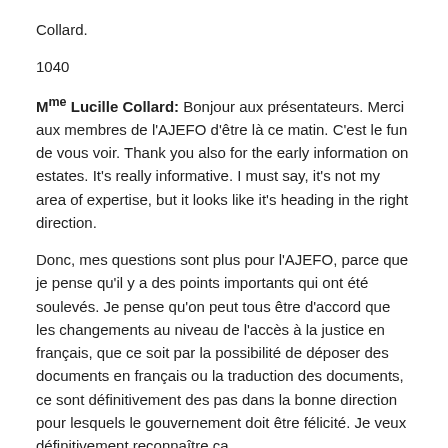Collard.
1040
Mme Lucille Collard: Bonjour aux présentateurs. Merci aux membres de l'AJEFO d'être là ce matin. C'est le fun de vous voir. Thank you also for the early information on estates. It's really informative. I must say, it's not my area of expertise, but it looks like it's heading in the right direction.
Donc, mes questions sont plus pour l'AJEFO, parce que je pense qu'il y a des points importants qui ont été soulevés. Je pense qu'on peut tous être d'accord que les changements au niveau de l'accès à la justice en français, que ce soit par la possibilité de déposer des documents en français ou la traduction des documents, ce sont définitivement des pas dans la bonne direction pour lesquels le gouvernement doit être félicité. Je veux définitivement reconnaître ça.
Ma question serait, qu'est-ce qu'on peut faire ou qu'est-ce